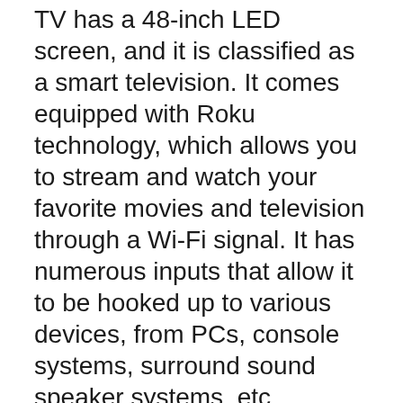TV has a 48-inch LED screen, and it is classified as a smart television. It comes equipped with Roku technology, which allows you to stream and watch your favorite movies and television through a Wi-Fi signal. It has numerous inputs that allow it to be hooked up to various devices, from PCs, console systems, surround sound speaker systems, etc.
TAVR Universal Table Top TV Stand for Most 27 30 32 37 40 42 47 50 55 60 65 inch Plasma LCD LED Flat or Curved Screen TVs with Height Adjustment,VESA Patterns up to 800mm x 500mm,88 Lbs,UT3001 4.3 out of 5 stars 1,015 Buy Samsung TVs with Flat Screen and get the best deals at the